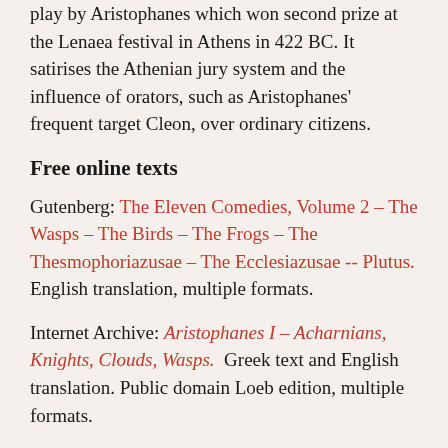play by Aristophanes which won second prize at the Lenaea festival in Athens in 422 BC. It satirises the Athenian jury system and the influence of orators, such as Aristophanes' frequent target Cleon, over ordinary citizens.
Free online texts
Gutenberg: The Eleven Comedies, Volume 2 – The Wasps – The Birds – The Frogs – The Thesmophoriazusae – The Ecclesiazusae -- Plutus. English translation, multiple formats.
Internet Archive: Aristophanes I – Acharnians, Knights, Clouds, Wasps.  Greek text and English translation. Public domain Loeb edition, multiple formats.
Internet Classics Archive: The Wasps. HTML and TXT formats.